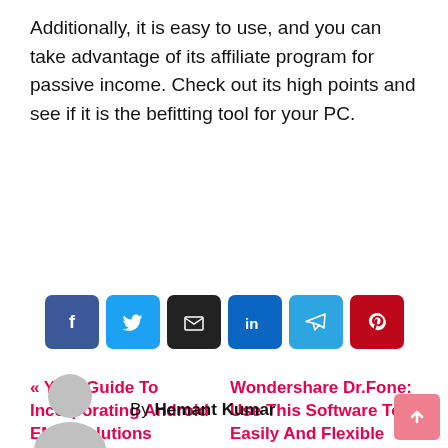Additionally, it is easy to use, and you can take advantage of its affiliate program for passive income. Check out its high points and see if it is the befitting tool for your PC.
[Figure (other): Row of six social sharing buttons: Facebook (blue), Twitter (light blue), Email (dark/black), LinkedIn (blue), Telegram (light blue), Pinterest (red)]
« Your Guide To Incorporating Android EMM Solutions
Wondershare Dr.Fone: Use This Software To Easily And Flexible Transfer WhatsApp Chats »
By Hemant Kumar